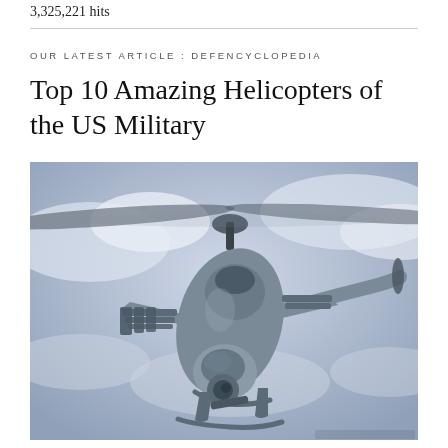3,325,221 hits
OUR LATEST ARTICLE : DEFENCYCLOPEDIA
Top 10 Amazing Helicopters of the US Military
[Figure (photo): A military attack helicopter (AH-1Z Viper type) in flight against a cloudy sky, photographed from slightly below. The helicopter is grey, loaded with weapons systems on its stub wings, with rotor blades spinning visibly.]